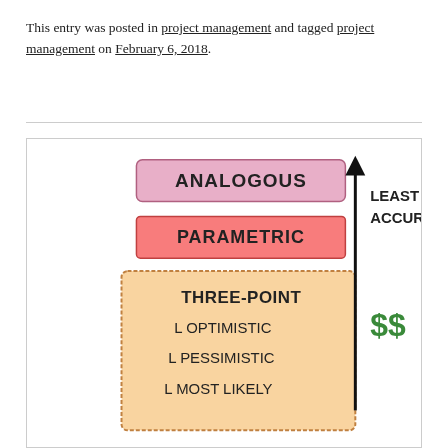This entry was posted in project management and tagged project management on February 6, 2018.
[Figure (illustration): Hand-drawn illustration showing estimation types stacked vertically (Analogous, Parametric, Three-Point with sub-items Optimistic, Pessimistic, Most Likely), with an upward arrow on the right labeled 'Least Accurate' and a green dollar sign ($$) indicating cost.]